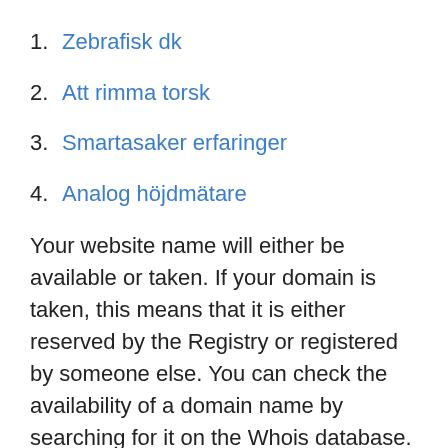1. Zebrafisk dk
2. Att rimma torsk
3. Smartasaker erfaringer
4. Analog höjdmätare
Your website name will either be available or taken. If your domain is taken, this means that it is either reserved by the Registry or registered by someone else. You can check the availability of a domain name by searching for it on the Whois database. It will give you the status of whether the domain name that you are looking for is available or not. Doing this for multiple domain names over time can help you build a list of available domain names.